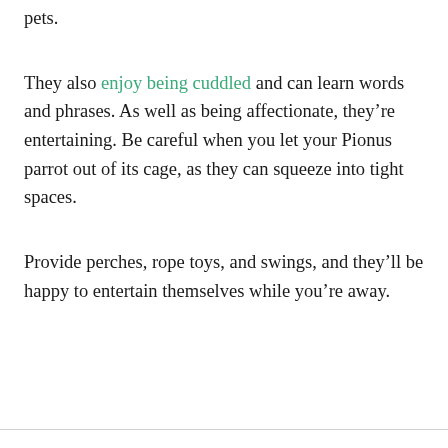pets.
They also enjoy being cuddled and can learn words and phrases. As well as being affectionate, they're entertaining. Be careful when you let your Pionus parrot out of its cage, as they can squeeze into tight spaces.
Provide perches, rope toys, and swings, and they'll be happy to entertain themselves while you're away.